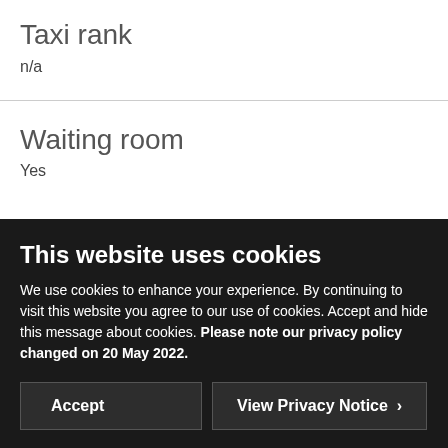Taxi rank
n/a
Waiting room
Yes
This website uses cookies
We use cookies to enhance your experience. By continuing to visit this website you agree to our use of cookies. Accept and hide this message about cookies. Please note our privacy policy changed on 20 May 2022.
Accept
View Privacy Notice >